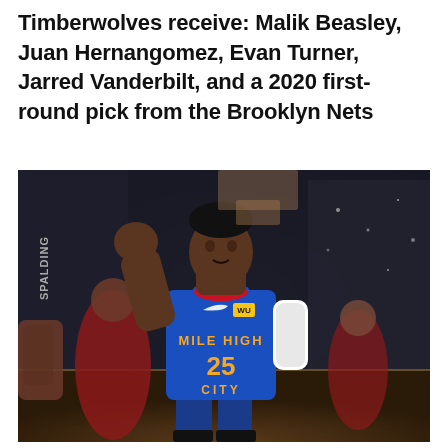Timberwolves receive: Malik Beasley, Juan Hernangomez, Evan Turner, Jarred Vanderbilt, and a 2020 first-round pick from the Brooklyn Nets
[Figure (photo): Basketball player wearing a blue Denver Nuggets 'Mile High City' jersey with number 25, pumping his fist in celebration during a game.]